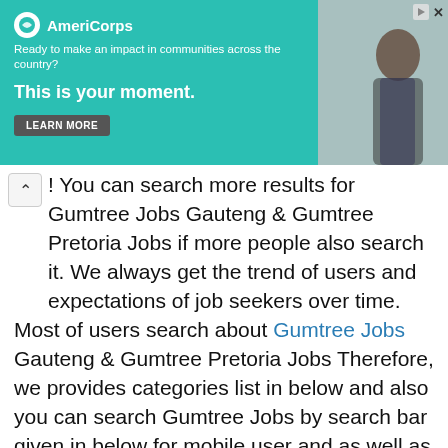[Figure (photo): AmeriCorps advertisement banner with teal background. Left side shows AmeriCorps logo, tagline 'Ready to make an impact in communities across the country?', bold text 'This is your moment.' and a LEARN MORE button. Right side shows a photo of a person.]
! You can search more results for Gumtree Jobs Gauteng & Gumtree Pretoria Jobs if more people also search it. We always get the trend of users and expectations of job seekers over time.
Most of users search about Gumtree Jobs Gauteng & Gumtree Pretoria Jobs Therefore, we provides categories list in below and also you can search Gumtree Jobs by search bar given in below for mobile user and as well as right side bar for computer users.
For a Gumtree Gauteng Jobs in PathCare and other department getting a lot of concern